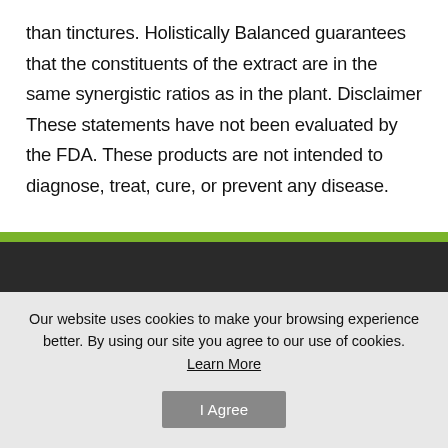than tinctures. Holistically Balanced guarantees that the constituents of the extract are in the same synergistic ratios as in the plant. Disclaimer These statements have not been evaluated by the FDA. These products are not intended to diagnose, treat, cure, or prevent any disease.
Our website uses cookies to make your browsing experience better. By using our site you agree to our use of cookies.
Learn More
I Agree